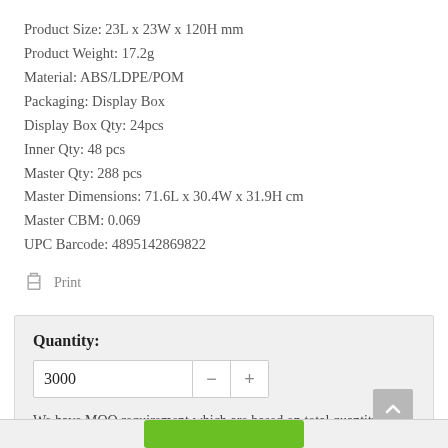Product Size: 23L x 23W x 120H mm
Product Weight: 17.2g
Material: ABS/LDPE/POM
Packaging: Display Box
Display Box Qty: 24pcs
Inner Qty: 48 pcs
Master Qty: 288 pcs
Master Dimensions: 71.6L x 30.4W x 31.9H cm
Master CBM: 0.069
UPC Barcode: 4895142869822
Print
Quantity:
3000
We have MOQ requirement which are based on total quantity order, stock availability and product complexity, therefore we may have additional costs accordingly.